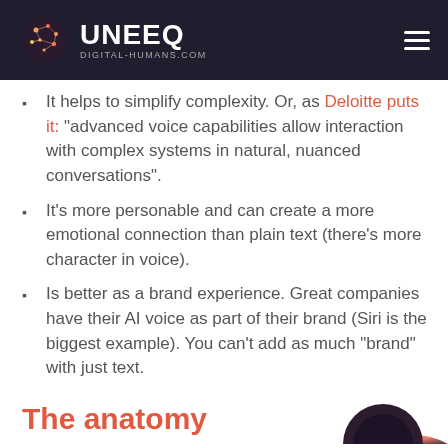UNEEQ DIGITAL-HUMANS.COM
It helps to simplify complexity. Or, as Deloitte puts it: “advanced voice capabilities allow interaction with complex systems in natural, nuanced conversations”.
It’s more personable and can create a more emotional connection than plain text (there’s more character in voice).
Is better as a brand experience. Great companies have their AI voice as part of their brand (Siri is the biggest example). You can’t add as much “brand” with just text.
The anatomy